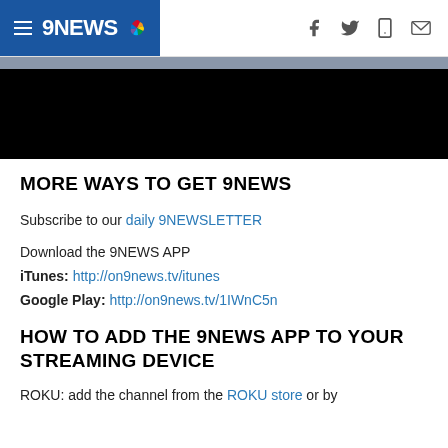9NEWS
[Figure (screenshot): Black video/media placeholder area below navigation bar]
MORE WAYS TO GET 9NEWS
Subscribe to our daily 9NEWSLETTER
Download the 9NEWS APP
iTunes: http://on9news.tv/itunes
Google Play: http://on9news.tv/1IWnC5n
HOW TO ADD THE 9NEWS APP TO YOUR STREAMING DEVICE
ROKU: add the channel from the ROKU store or by